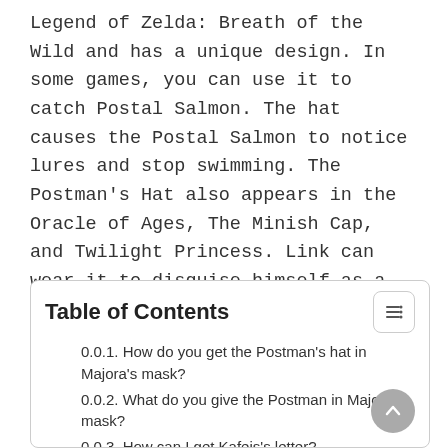Legend of Zelda: Breath of the Wild and has a unique design. In some games, you can use it to catch Postal Salmon. The hat causes the Postal Salmon to notice lures and stop swimming. The Postman's Hat also appears in the Oracle of Ages, The Minish Cap, and Twilight Princess. Link can wear it to disguise himself as a Postman.
Table of Contents
0.0.1. How do you get the Postman's hat in Majora's mask?
0.0.2. What do you give the Postman in Majora's mask?
0.0.3. How can I get Kafeis's letter?
0.0.4. Kafei's Mask
0.0.5. Getting it in Majora's Mask 3D